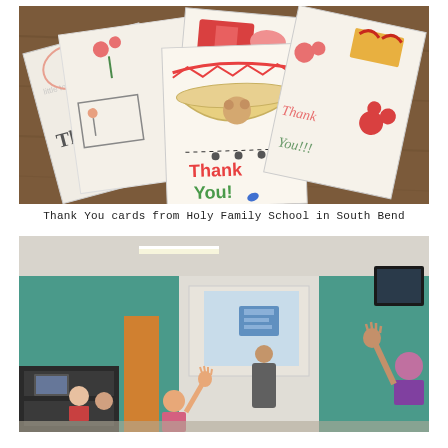[Figure (photo): Photo of multiple hand-drawn 'Thank You' cards spread out on a wooden table. Cards feature colorful drawings and handwritten text saying 'Thank You' in various styles and colors.]
Thank You cards from Holy Family School in South Bend
[Figure (photo): Photo of a classroom with a presenter standing near a projection screen showing a slide. Students are raising their hands. The room has teal/green walls.]